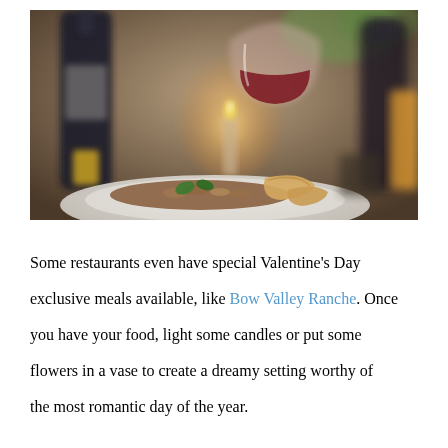[Figure (photo): A romantic dinner scene showing a plate of food (grain/lentil dish with basil and bread) in the foreground, a wine bottle on the left, a glass of red wine in the center, a candle in the background, and another bottle on the right. Blurred bokeh background with warm tones.]
Some restaurants even have special Valentine's Day exclusive meals available, like Bow Valley Ranche. Once you have your food, light some candles or put some flowers in a vase to create a dreamy setting worthy of the most romantic day of the year.